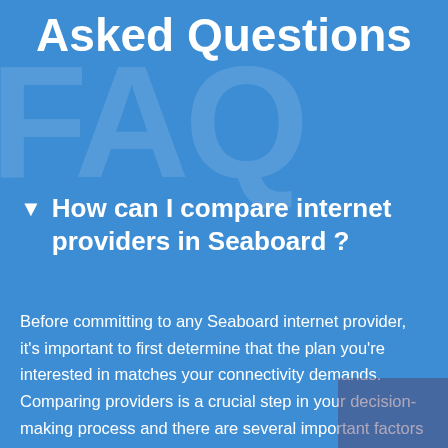Asked Questions
How can I compare internet providers in Seaboard ?
Before committing to any Seaboard internet provider, it's important to first determine that the plan you're interested in matches your connectivity demands. Comparing providers is a crucial step in your decision-making process and there are several important factors to consider before making your final decision including: